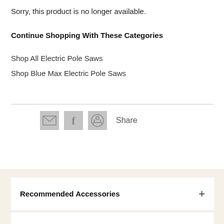Sorry, this product is no longer available.
Continue Shopping With These Categories
Shop All Electric Pole Saws
Shop Blue Max Electric Pole Saws
[Figure (infographic): Social sharing icons: email envelope icon, Facebook icon, Pinterest icon, and Share text label]
Recommended Accessories +